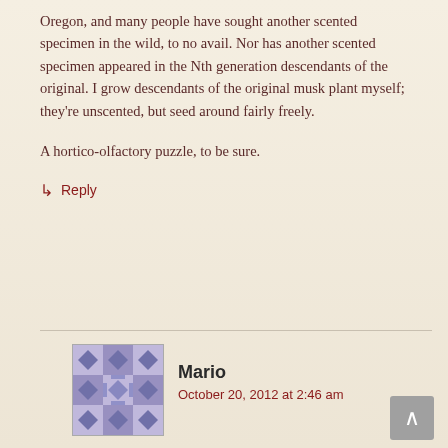Oregon, and many people have sought another scented specimen in the wild, to no avail. Nor has another scented specimen appeared in the Nth generation descendants of the original. I grow descendants of the original musk plant myself; they're unscented, but seed around fairly freely.
A hortico-olfactory puzzle, to be sure.
↳ Reply
Mario
October 20, 2012 at 2:46 am
The story of M. moschatus in the UK is fascinating. Can you recommend me a reference where I can learn more about the history of it's introduction? Thanks.
↳ Reply